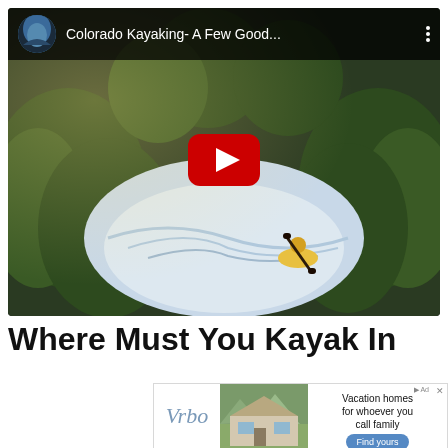[Figure (screenshot): YouTube video thumbnail showing aerial view of kayaker on whitewater rapids in Colorado, surrounded by evergreen trees. Video title reads 'Colorado Kayaking- A Few Good...' with YouTube play button overlay.]
Where Must You Kayak In
[Figure (other): Vrbo advertisement showing vacation home with mountain backdrop, tagline 'Vacation homes for whoever you call family', with a 'Find yours' button.]